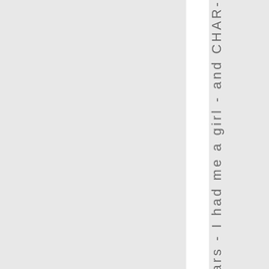- vii - Wars - I had me a girl - and CHAR-